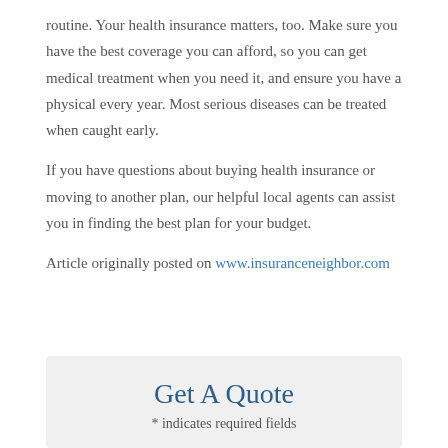routine. Your health insurance matters, too. Make sure you have the best coverage you can afford, so you can get medical treatment when you need it, and ensure you have a physical every year. Most serious diseases can be treated when caught early.
If you have questions about buying health insurance or moving to another plan, our helpful local agents can assist you in finding the best plan for your budget.
Article originally posted on www.insuranceneighbor.com
Get A Quote
* indicates required fields